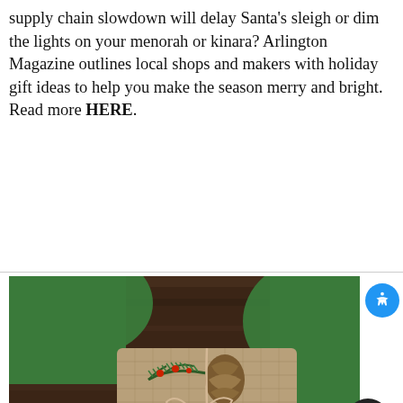supply chain slowdown will delay Santa's sleigh or dim the lights on your menorah or kinara? Arlington Magazine outlines local shops and makers with holiday gift ideas to help you make the season merry and bright. Read more HERE.
[Figure (photo): Person in green sweater holding a burlap-wrapped gift decorated with pine branches, berries, and a pinecone, tied with twine bow, on a dark wood surface]
[Figure (photo): Partial bottom photo showing holiday items on a dark wooden surface]